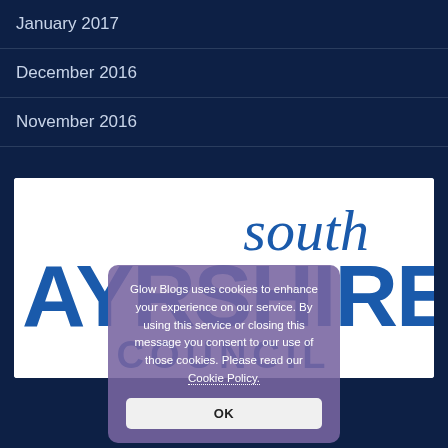January 2017
December 2016
November 2016
[Figure (logo): South Ayrshire Council logo — large bold blue text 'AYRSHIRE' with italic 'south' above and 'COUNCIL' below, white background]
Glow Blogs uses cookies to enhance your experience on our service. By using this service or closing this message you consent to our use of those cookies. Please read our Cookie Policy.
OK